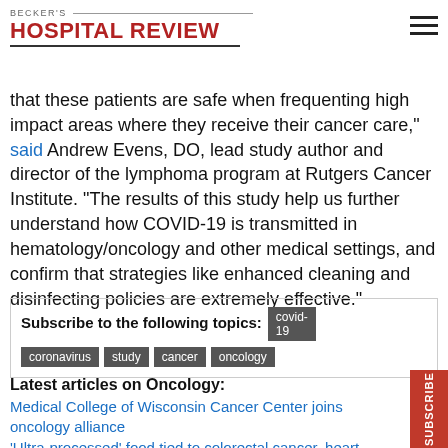BECKER'S HOSPITAL REVIEW
that these patients are safe when frequenting high impact areas where they receive their cancer care," said Andrew Evens, DO, lead study author and director of the lymphoma program at Rutgers Cancer Institute. "The results of this study help us further understand how COVID-19 is transmitted in hematology/oncology and other medical settings, and confirm that strategies like enhanced cleaning and disinfecting policies are extremely effective."
Subscribe to the following topics: covid-19 coronavirus study cancer oncology
Latest articles on Oncology:
Medical College of Wisconsin Cancer Center joins oncology alliance
'Ultra-processed' food tied to colorectal cancer, heart disease, studies find
Top 10 oncology headlines of August